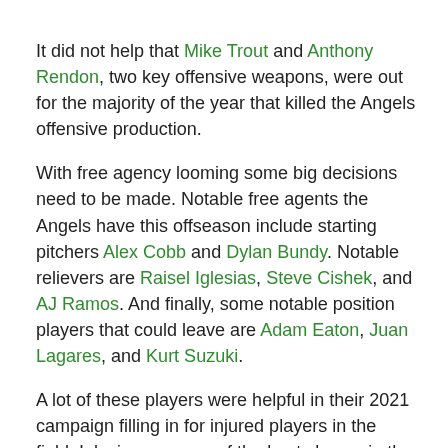It did not help that Mike Trout and Anthony Rendon, two key offensive weapons, were out for the majority of the year that killed the Angels offensive production.
With free agency looming some big decisions need to be made. Notable free agents the Angels have this offseason include starting pitchers Alex Cobb and Dylan Bundy. Notable relievers are Raisel Iglesias, Steve Cishek, and AJ Ramos. And finally, some notable position players that could leave are Adam Eaton, Juan Lagares, and Kurt Suzuki.
A lot of these players were helpful in their 2021 campaign filling in for injured players in the field. Iglesias was one of the best closers in the league and bolstered the bullpen. He had 34 saves in 39 opportunities with a 2.57 era.